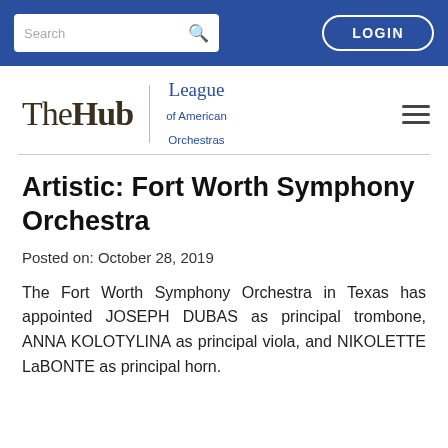Search | LOGIN
[Figure (logo): The Hub | League of American Orchestras logo with hamburger menu]
Artistic: Fort Worth Symphony Orchestra
Posted on: October 28, 2019
The Fort Worth Symphony Orchestra in Texas has appointed JOSEPH DUBAS as principal trombone, ANNA KOLOTYLINA as principal viola, and NIKOLETTE LaBONTE as principal horn.